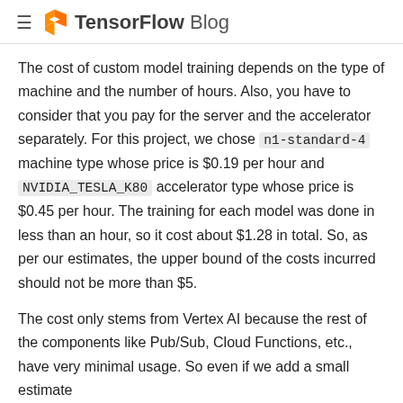TensorFlow Blog
The cost of custom model training depends on the type of machine and the number of hours. Also, you have to consider that you pay for the server and the accelerator separately. For this project, we chose n1-standard-4 machine type whose price is $0.19 per hour and NVIDIA_TESLA_K80 accelerator type whose price is $0.45 per hour. The training for each model was done in less than an hour, so it cost about $1.28 in total. So, as per our estimates, the upper bound of the costs incurred should not be more than $5.
The cost only stems from Vertex AI because the rest of the components like Pub/Sub, Cloud Functions, etc., have very minimal usage. So even if we add a small estimate for the components, the upper bound of the total cost for this